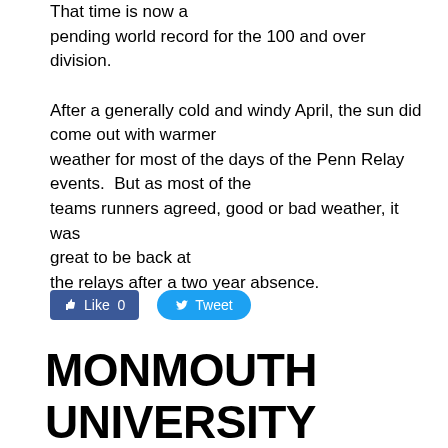That time is now a pending world record for the 100 and over division.

After a generally cold and windy April, the sun did come out with warmer weather for most of the days of the Penn Relay events.  But as most of the teams runners agreed, good or bad weather, it was great to be back at the relays after a two year absence.
[Figure (other): Facebook Like button showing 0 likes and a Twitter Tweet button]
MONMOUTH UNIVERSITY DEDICATES THEIR TRACK TO COACH JOE COMPAGNI!!